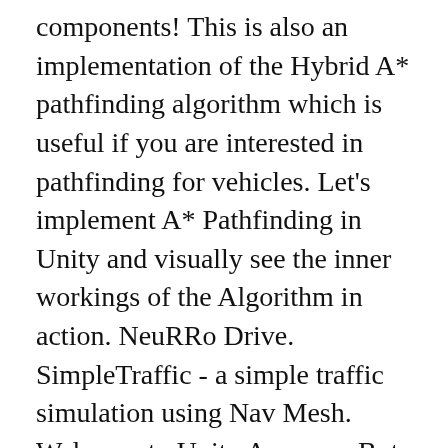components! This is also an implementation of the Hybrid A* pathfinding algorithm which is useful if you are interested in pathfinding for vehicles. Let's implement A* Pathfinding in Unity and visually see the inner workings of the Algorithm in action. NeuRRo Drive. SimpleTraffic - a simple traffic simulation using Nav Mesh. Welcome to Unity Answers. But, I am looking to modify to work in a 2d platformer situation. AI Games & Projects. Brian Crandell. 159 . One of th... More Unity Audio. Search the Unity Knowledge Base for tips, tricks and troubleshooting. First you will need to create a project. I chose C# due to its flexibility compared to other languages such as Java. First you will need to create a project. If